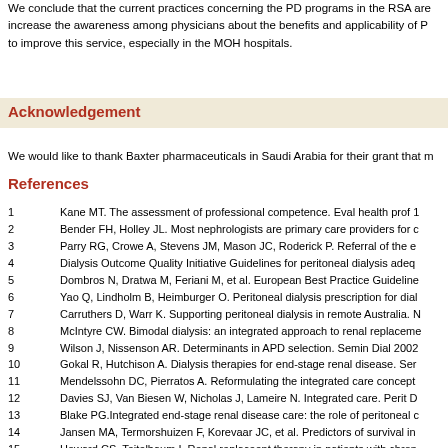We conclude that the current practices concerning the PD programs in the RSA are increase the awareness among physicians about the benefits and applicability of P to improve this service, especially in the MOH hospitals.
Acknowledgement
We would like to thank Baxter pharmaceuticals in Saudi Arabia for their grant that m
References
1   Kane MT. The assessment of professional competence. Eval health prof 1
2   Bender FH, Holley JL. Most nephrologists are primary care providers for c
3   Parry RG, Crowe A, Stevens JM, Mason JC, Roderick P. Referral of the e
4   Dialysis Outcome Quality Initiative Guidelines for peritoneal dialysis adeq
5   Dombros N, Dratwa M, Feriani M, et al. European Best Practice Guideline
6   Yao Q, Lindholm B, Heimburger O. Peritoneal dialysis prescription for dial
7   Carruthers D, Warr K. Supporting peritoneal dialysis in remote Australia. N
8   McIntyre CW. Bimodal dialysis: an integrated approach to renal replaceme
9   Wilson J, Nissenson AR. Determinants in APD selection. Semin Dial 2002
10  Gokal R, Hutchison A. Dialysis therapies for end-stage renal disease. Ser
11  Mendelssohn DC, Pierratos A. Reformulating the integrated care concept
12  Davies SJ, Van Biesen W, Nicholas J, Lameire N. Integrated care. Perit D
13  Blake PG.Integrated end-stage renal disease care: the role of peritoneal c
14  Jansen MA, Termorshuizen F, Korevaar JC, et al. Predictors of survival in
15  Howard CS, Teitelbaum I. Renal replaceent therapy in patients with chron
16  ...